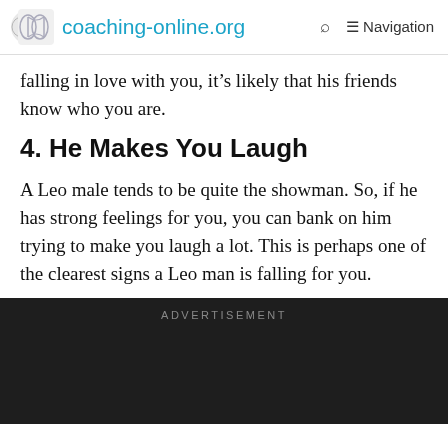coaching-online.org  Q  Navigation
falling in love with you, it’s likely that his friends know who you are.
4. He Makes You Laugh
A Leo male tends to be quite the showman. So, if he has strong feelings for you, you can bank on him trying to make you laugh a lot. This is perhaps one of the clearest signs a Leo man is falling for you.
[Figure (other): Advertisement block — dark background rectangle with 'ADVERTISEMENT' label in gray uppercase text]